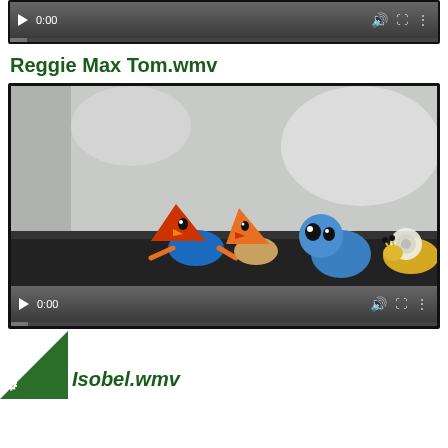[Figure (screenshot): Video player controls bar (top, partially visible) showing play button, 0:00 timestamp, volume and fullscreen icons, and progress bar]
Reggie Max Tom.wmv
[Figure (screenshot): Video player showing clay animation figures - colorful clay characters including red and orange cone-shaped figures, a blue character, and a yellow/white snail-like figure on a dark surface against a light background, with video controls showing 0:00]
Isobel.wmv